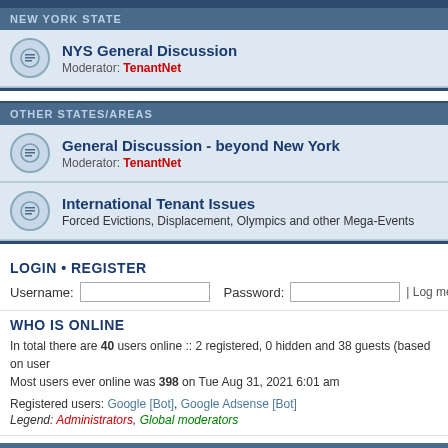NEW YORK STATE
NYS General Discussion
Moderator: TenantNet
OTHER STATES/AREAS
General Discussion - beyond New York
Moderator: TenantNet
International Tenant Issues
Forced Evictions, Displacement, Olympics and other Mega-Events
LOGIN • REGISTER
Username:  Password:  | Log me on a
WHO IS ONLINE
In total there are 40 users online :: 2 registered, 0 hidden and 38 guests (based on user
Most users ever online was 398 on Tue Aug 31, 2021 6:01 am
Registered users: Google [Bot], Google Adsense [Bot]
Legend: Administrators, Global moderators
STATISTICS
Total posts 55170 • Total topics 10869 • Total members 8162 • Our newest member WO